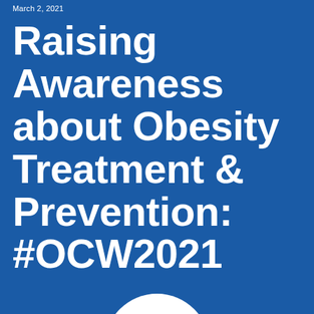March 2, 2021
Raising Awareness about Obesity Treatment & Prevention: #OCW2021
[Figure (illustration): White circle/logo partially visible at bottom center of the page]